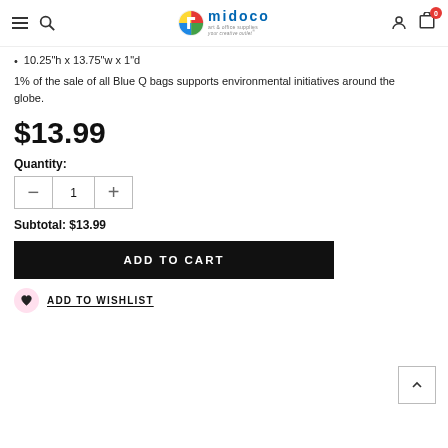midoco art & office supplies - your creative outlet
10.25"h x 13.75"w x 1"d
1% of the sale of all Blue Q bags supports environmental initiatives around the globe.
$13.99
Quantity:
Subtotal: $13.99
ADD TO CART
ADD TO WISHLIST